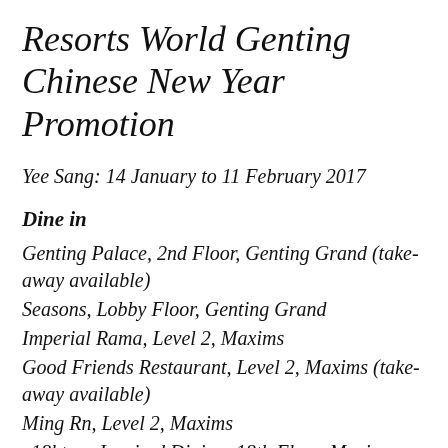Resorts World Genting Chinese New Year Promotion
Yee Sang: 14 January to 11 February 2017
Dine in
Genting Palace, 2nd Floor, Genting Grand (take-away available)
Seasons, Lobby Floor, Genting Grand
Imperial Rama, Level 2, Maxims
Good Friends Restaurant, Level 2, Maxims (take-away available)
Ming Rn, Level 2, Maxims
e18hteen Inspired Dining, 18th Floor, Maxims